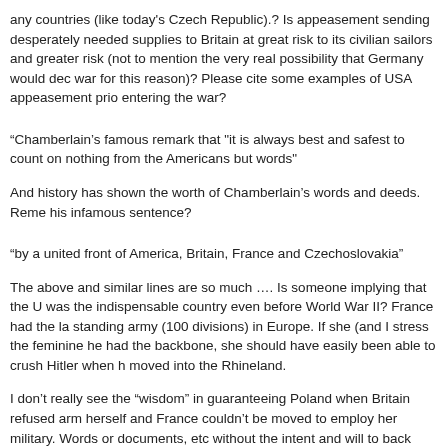any countries (like today's Czech Republic).? Is appeasement sending desperately needed supplies to Britain at great risk to its civilian sailors and greater risk (not to mention the very real possibility that Germany would dec war for this reason)? Please cite some examples of USA appeasement prio entering the war?
“Chamberlain’s famous remark that "it is always best and safest to count on nothing from the Americans but words"
And history has shown the worth of Chamberlain’s words and deeds. Reme his infamous sentence?
“by a united front of America, Britain, France and Czechoslovakia”
The above and similar lines are so much …. Is someone implying that the U was the indispensable country even before World War II? France had the la standing army (100 divisions) in Europe. If she (and I stress the feminine he had the backbone, she should have easily been able to crush Hitler when h moved into the Rhineland.
I don’t really see the “wisdom” in guaranteeing Poland when Britain refused arm herself and France couldn’t be moved to employ her military. Words or documents, etc without the intent and will to back them up are meaningless